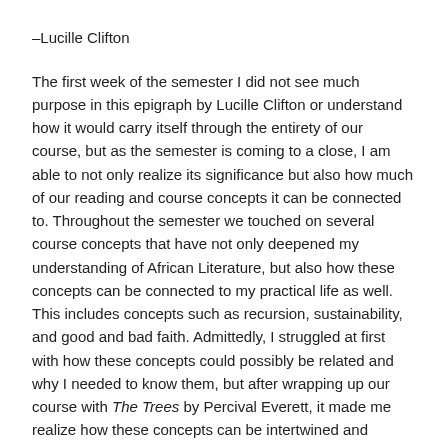–Lucille Clifton
The first week of the semester I did not see much purpose in this epigraph by Lucille Clifton or understand how it would carry itself through the entirety of our course, but as the semester is coming to a close, I am able to not only realize its significance but also how much of our reading and course concepts it can be connected to. Throughout the semester we touched on several course concepts that have not only deepened my understanding of African Literature, but also how these concepts can be connected to my practical life as well. This includes concepts such as recursion, sustainability, and good and bad faith. Admittedly, I struggled at first with how these concepts could possibly be related and why I needed to know them, but after wrapping up our course with The Trees by Percival Everett, it made me realize how these concepts can be intertwined and